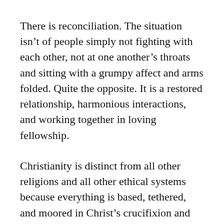There is reconciliation. The situation isn't of people simply not fighting with each other, not at one another's throats and sitting with a grumpy affect and arms folded. Quite the opposite. It is a restored relationship, harmonious interactions, and working together in loving fellowship.
Christianity is distinct from all other religions and all other ethical systems because everything is based, tethered, and moored in Christ's crucifixion and resurrection. In Christianity, enmity, hate, and rage aren't managed; they're put to death